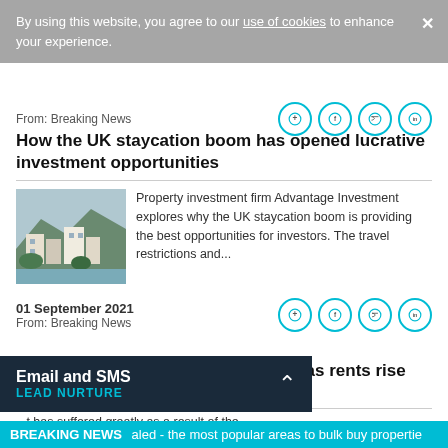By using this website, you agree to our use of cookies to enhance your experience.
From: Breaking News
How the UK staycation boom has opened lucrative investment opportunities
[Figure (photo): Scenic UK coastal village with white buildings on a hillside]
Property investment firm Advantage Investment explores why the UK staycation boom is providing the best opportunities for investors. The travel restrictions and...
01 September 2021
From: Breaking News
London rental market 'in full swing' as rents rise and stock
...t has suffered greatly as a result of the
Email and SMS LEAD NURTURE
BREAKING NEWS   aled - the most popular areas to bulk buy propertie